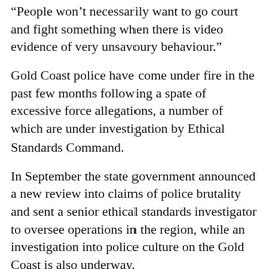“People won’t necessarily want to go court and fight something when there is video evidence of very unsavoury behaviour.”
Gold Coast police have come under fire in the past few months following a spate of excessive force allegations, a number of which are under investigation by Ethical Standards Command.
In September the state government announced a new review into claims of police brutality and sent a senior ethical standards investigator to oversee operations in the region, while an investigation into police culture on the Gold Coast is also underway.
Mr Stewart said police would be allowed to decide which interactions they filmed, but that this would be reviewed.
“I still want to stress (there are) a million and a half interactions and less than a couple of hundred complaints each year here on the Gold Coast,” he